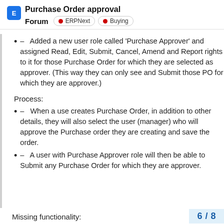Purchase Order approval
Forum | ERPNext | Buying
- Added a new user role called 'Purchase Approver' and assigned Read, Edit, Submit, Cancel, Amend and Report rights to it for those Purchase Order for which they are selected as approver. (This way they can only see and Submit those PO for which they are approver.)
Process:
- When a use creates Purchase Order, in addition to other details, they will also select the user (manager) who will approve the Purchase order they are creating and save the order.
- A user with Purchase Approver role will then be able to Submit any Purchase Order for which they are approver.
Missing functionality:
6 / 8